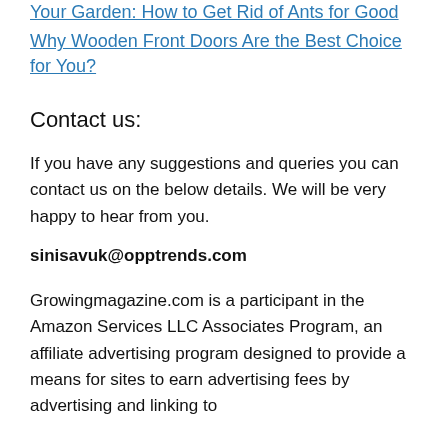Your Garden: How to Get Rid of Ants for Good
Why Wooden Front Doors Are the Best Choice for You?
Contact us:
If you have any suggestions and queries you can contact us on the below details. We will be very happy to hear from you.
sinisavuk@opptrends.com
Growingmagazine.com is a participant in the Amazon Services LLC Associates Program, an affiliate advertising program designed to provide a means for sites to earn advertising fees by advertising and linking to